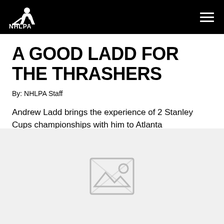NHLPA
A GOOD LADD FOR THE THRASHERS
By: NHLPA Staff
Andrew Ladd brings the experience of 2 Stanley Cups championships with him to Atlanta
JANUARY 6, 2011
[Figure (photo): Placeholder image area (broken image icon shown)]